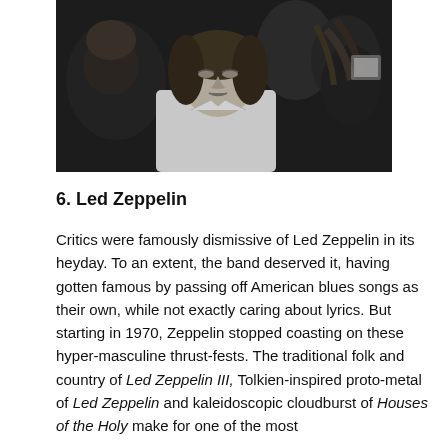[Figure (photo): Black and white photograph of Led Zeppelin members, with a young man with curly hair in a white shirt prominent in the center foreground, other band members visible behind him.]
6. Led Zeppelin
Critics were famously dismissive of Led Zeppelin in its heyday. To an extent, the band deserved it, having gotten famous by passing off American blues songs as their own, while not exactly caring about lyrics. But starting in 1970, Zeppelin stopped coasting on these hyper-masculine thrust-fests. The traditional folk and country of Led Zeppelin III, Tolkien-inspired proto-metal of Led Zeppelin and kaleidoscopic cloudburst of Houses of the Holy make for one of the most